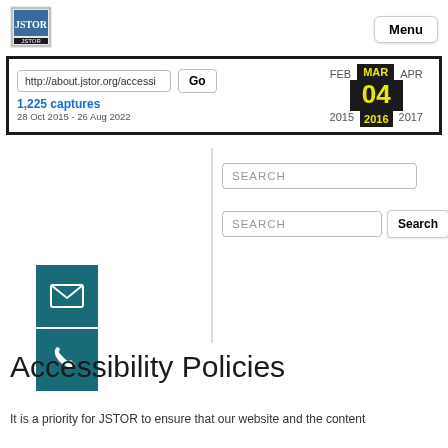[Figure (logo): JSTOR logo top left]
Menu
http://about.jstor.org/accessi   Go
1,225 captures
28 Oct 2015 - 26 Aug 2022
FEB  MAR  APR
04
2015  2016  2017
SEARCH
SEARCH
[Figure (illustration): Teal email icon (envelope)]
[Figure (illustration): Teal phone icon]
Accessibility Policies
It is a priority for JSTOR to ensure that our website and the content